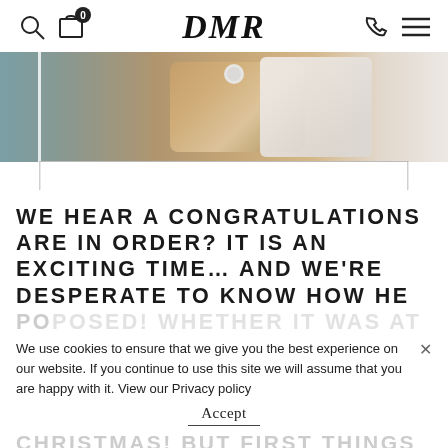DMR
[Figure (photo): Close-up photo of a person's hand with a ring, wearing a white collared shirt, with blurred teal/grey background]
WE HEAR A CONGRATULATIONS ARE IN ORDER? IT IS AN EXCITING TIME… AND WE'RE DESPERATE TO KNOW HOW HE PROPOSED!
We use cookies to ensure that we give you the best experience on our website. If you continue to use this site we will assume that you are happy with it. View our Privacy policy
CHRISTMAS! BUT FIRST THINGS FIRST, YOU NEED A RING!
Accept